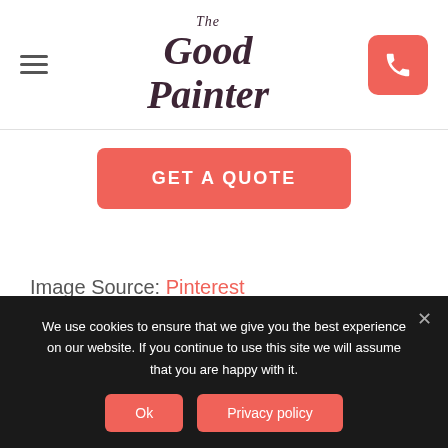The Good Painter
GET A QUOTE
Image Source: Pinterest
We use cookies to ensure that we give you the best experience on our website. If you continue to use this site we will assume that you are happy with it.
Ok | Privacy policy